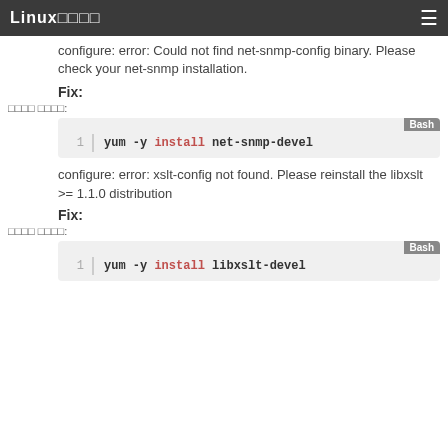Linux□□□□ ≡
configure: error: Could not find net-snmp-config binary. Please check your net-snmp installation.
Fix:
□□□□ □□□□:
Bash
1  yum -y install net-snmp-devel
configure: error: xslt-config not found. Please reinstall the libxslt >= 1.1.0 distribution
Fix:
□□□□ □□□□:
Bash
1  yum -y install libxslt-devel